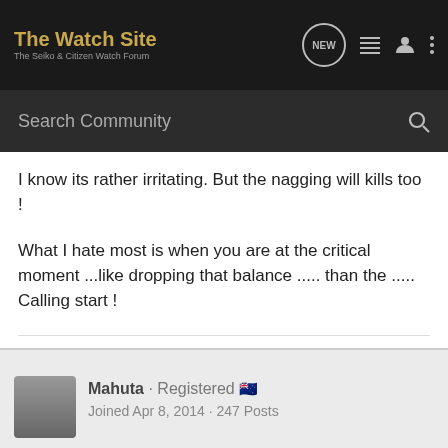The Watch Site | The Seiko & Citizen Watch Forum
Search Community
I know its rather irritating. But the nagging will kills too !
What I hate most is when you are at the critical moment ...like dropping that balance ..... than the ..... Calling start !
My blog
www.seikoparts.wordpress.com
Mahuta · Registered 🇳🇿
Joined Apr 8, 2014 · 247 Posts